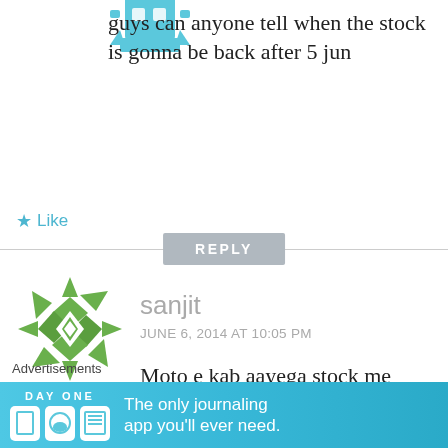[Figure (illustration): Teal/blue geometric robot or avatar icon in upper left, partially cropped at top of page]
guys can anyone tell when the stock is gonna be back after 5 jun
★ Like
REPLY
[Figure (illustration): Green geometric snowflake/diamond pattern avatar icon for user sanjit]
sanjit
JUNE 6, 2014 AT 10:05 PM
Moto e kab aayega stock me
★ Like
Advertisements
[Figure (illustration): Day One journaling app advertisement banner with teal background showing app icons and text: The only journaling app you'll ever need.]